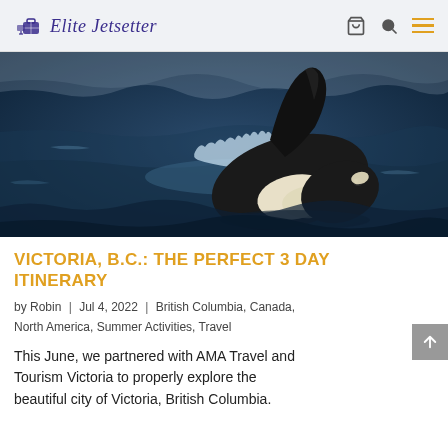Elite Jetsetter
[Figure (photo): An orca (killer whale) breaching the ocean surface, showing its black and white coloring with dorsal fin visible, dark blue ocean water in background]
VICTORIA, B.C.: THE PERFECT 3 DAY ITINERARY
by Robin | Jul 4, 2022 | British Columbia, Canada, North America, Summer Activities, Travel
This June, we partnered with AMA Travel and Tourism Victoria to properly explore the beautiful city of Victoria, British Columbia.